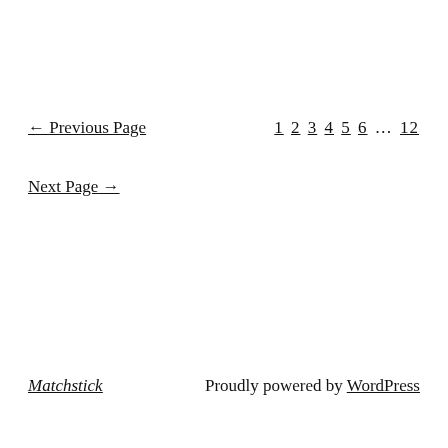← Previous Page   1 2 3 4 5 6 … 12
Next Page →
Matchstick   Proudly powered by WordPress